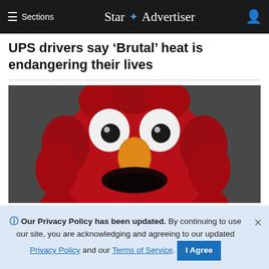≡ Sections   Star ✦ Advertiser
UPS drivers say 'Brutal' heat is endangering their lives
[Figure (photo): Photo of Elmo, the red Sesame Street muppet character, shown from shoulders up against a dark grey background, looking forward with wide white eyes with black pupils, orange nose, and open smiling mouth.]
ℹ Our Privacy Policy has been updated. By continuing to use our site, you are acknowledging and agreeing to our updated Privacy Policy and our Terms of Service. I Agree